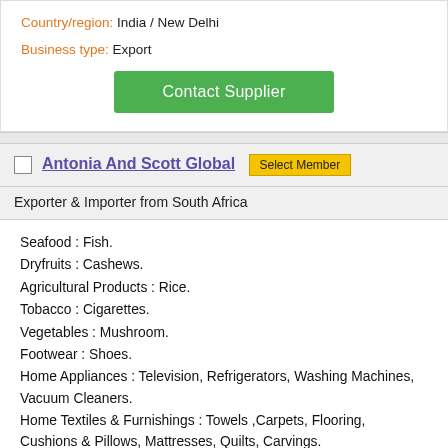Country/region: India / New Delhi
Business type: Export
Contact Supplier
Antonia And Scott Global  Select Member
Exporter & Importer from South Africa
Seafood : Fish.
Dryfruits : Cashews.
Agricultural Products : Rice.
Tobacco : Cigarettes.
Vegetables : Mushroom.
Footwear : Shoes.
Home Appliances : Television, Refrigerators, Washing Machines, Vacuum Cleaners.
Home Textiles & Furnishings : Towels ,Carpets, Flooring, Cushions & Pillows, Mattresses, Quilts, Carvings.
Scraps, Cosmetics, Food products, Beverages, Processed Food, Farm Products, Grains, Fruits, Poultry Animal Products, Coconut